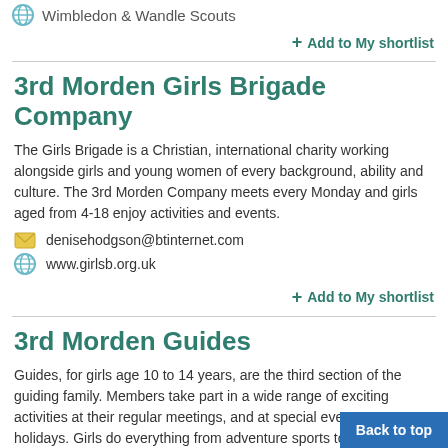Wimbledon & Wandle Scouts
+ Add to My shortlist
3rd Morden Girls Brigade Company
The Girls Brigade is a Christian, international charity working alongside girls and young women of every background, ability and culture. The 3rd Morden Company meets every Monday and girls aged from 4-18 enjoy activities and events.
denisehodgson@btinternet.com
www.girlsb.org.uk
+ Add to My shortlist
3rd Morden Guides
Guides, for girls age 10 to 14 years, are the third section of the guiding family. Members take part in a wide range of exciting activities at their regular meetings, and at special events or holidays. Girls do everything from adventure sports to fun...